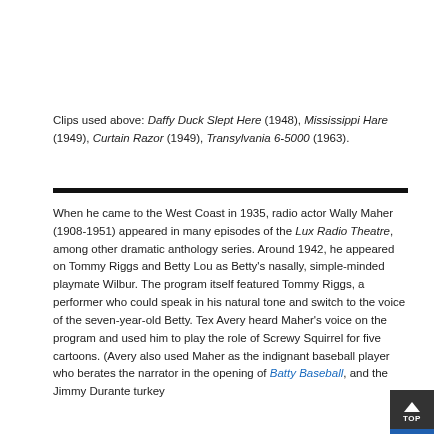Clips used above: Daffy Duck Slept Here (1948), Mississippi Hare (1949), Curtain Razor (1949), Transylvania 6-5000 (1963).
When he came to the West Coast in 1935, radio actor Wally Maher (1908-1951) appeared in many episodes of the Lux Radio Theatre, among other dramatic anthology series. Around 1942, he appeared on Tommy Riggs and Betty Lou as Betty's nasally, simple-minded playmate Wilbur. The program itself featured Tommy Riggs, a performer who could speak in his natural tone and switch to the voice of the seven-year-old Betty. Tex Avery heard Maher's voice on the program and used him to play the role of Screwy Squirrel for five cartoons. (Avery also used Maher as the indignant baseball player who berates the narrator in the opening of Batty Baseball, and the Jimmy Durante turkey...